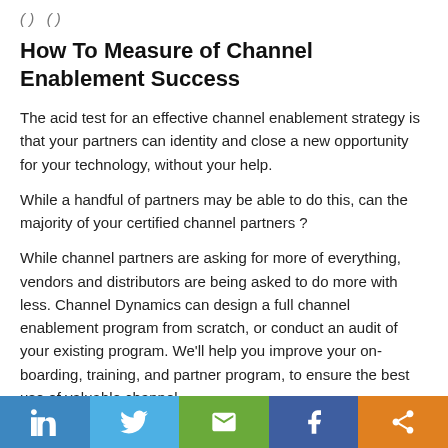( ) ( )
How To Measure of Channel Enablement Success
The acid test for an effective channel enablement strategy is that your partners can identity and close a new opportunity for your technology, without your help.
While a handful of partners may be able to do this, can the majority of your certified channel partners ?
While channel partners are asking for more of everything, vendors and distributors are being asked to do more with less. Channel Dynamics can design a full channel enablement program from scratch, or conduct an audit of your existing program. We'll help you improve your on-boarding, training, and partner program, to ensure the best use of valuable channel